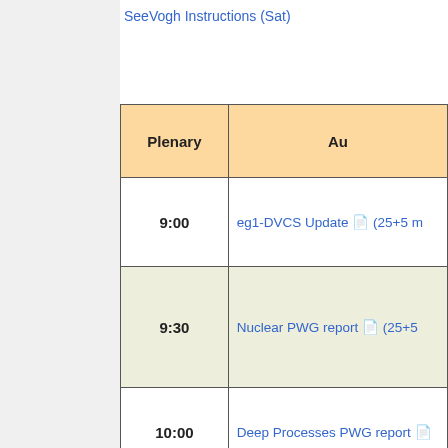SeeVogh Instructions (Sat)
| Plenary | Au |
| --- | --- |
| 9:00 | eg1-DVCS Update (25+5 m |
| 9:30 | Nuclear PWG report (25+5 |
| 10:00 | Deep Processes PWG report |
| 10:30 |  |
| 11:00 | Hadron Spectroscopy PWG re |